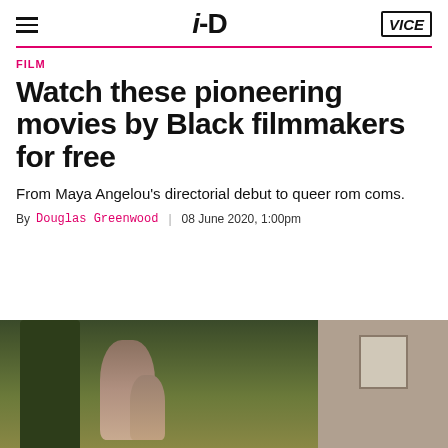i-D | VICE
FILM
Watch these pioneering movies by Black filmmakers for free
From Maya Angelou’s directorial debut to queer rom coms.
By Douglas Greenwood | 08 June 2020, 1:00pm
[Figure (photo): Outdoor photograph showing a woman and child, with trees and a stone wall with window in the background.]